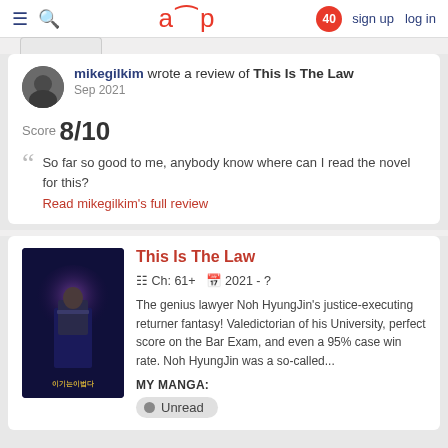aup | 40 | sign up | log in
mikegilkim wrote a review of This Is The Law
Sep 2021
Score 8/10
So far so good to me, anybody know where can I read the novel for this?
Read mikegilkim's full review
This Is The Law
Ch: 61+   2021 - ?
The genius lawyer Noh HyungJin's justice-executing returner fantasy! Valedictorian of his University, perfect score on the Bar Exam, and even a 95% case win rate. Noh HyungJin was a so-called...
MY MANGA:
Unread